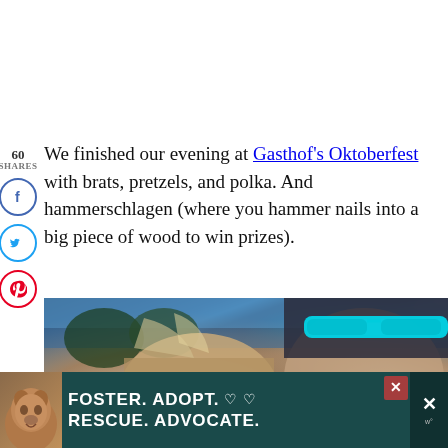We finished our evening at Gasthof's Oktoberfest with brats, pretzels, and polka. And hammerschlagen (where you hammer nails into a big piece of wood to win prizes).
[Figure (photo): Two people taking a selfie outdoors; one has light hair with highlights and the other has dark hair and cyan/teal sunglasses on top of their head. Sky and trees visible in background.]
[Figure (infographic): Advertisement banner with dark teal background showing a dog (pit bull type) on the left. Text reads: FOSTER. ADOPT. ♡♡ RESCUE. ADVOCATE. A close button and mute/dismiss button appear on the right.]